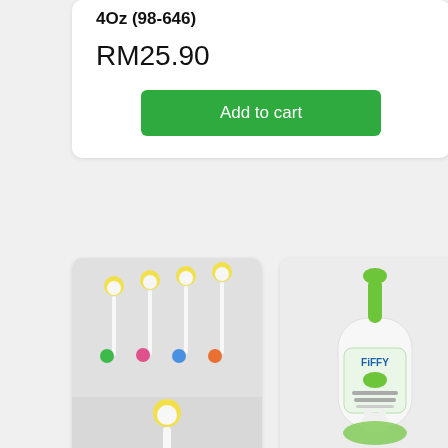4Oz (98-646)
RM25.90
Add to cart
[Figure (photo): Multiple colorful baby bottle brushes with yellow sponge tips and colored handles (green, pink, blue, orange)]
[Figure (photo): Close-up of a baby bottle brush with yellow sponge tip and blue handle]
[Figure (photo): Fiffy brand Head-To-Toe Baby Wash bottle with green pump dispenser]
Baby and Child
Fiffy Baby Head-To-Toe Body Wash